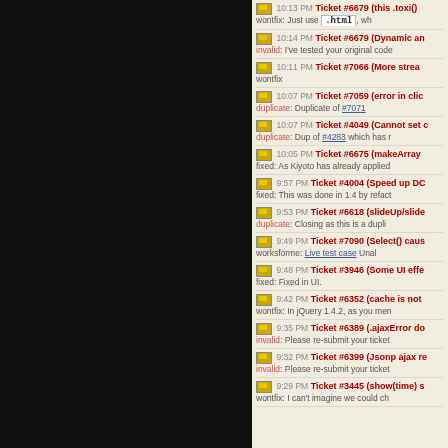10:13 PM Ticket #6679 (this .toxi()) - wontfix: Just use .html
10:14 PM Ticket #6679 (Dynamic an...) - invalid: I've tested your original code
10:11 PM Ticket #7066 (More stream...) - wontfix
10:07 PM Ticket #7059 (error in click...) - duplicate: Duplicate of #7071
10:07 PM Ticket #4049 (Cannot set c...) - duplicate: Dup of #4283 which has r
10:05 PM Ticket #6675 (makeArray...) - fixed: As Kiyoto has already applied
9:57 PM Ticket #4004 (Speed up DO...) - fixed: This was done in 1.4 by refact
9:53 PM Ticket #6618 (slideUp/slide...) - duplicate: Closing as this is a dup
9:49 PM Ticket #7090 (Select() caus...) - worksforme: Live test case Unal
9:48 PM Ticket #3946 (Some UI effe...) - fixed: Fixed in UI.
9:42 PM Ticket #6352 (cache is not...) - wontfix: In jQuery 1.4.2, as you men
9:35 PM Ticket #6389 (.ajaxError do...) - invalid: Please re-submit your ticket
9:32 PM Ticket #6399 (Jsonp ajax re...) - invalid: Please re-submit your ticket
9:29 PM Ticket #3445 (show(time) s...) - wontfix: I can't imagine we could ch